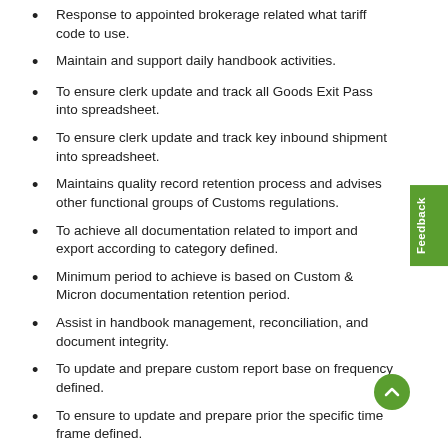Response to appointed brokerage related what tariff code to use.
Maintain and support daily handbook activities.
To ensure clerk update and track all Goods Exit Pass into spreadsheet.
To ensure clerk update and track key inbound shipment into spreadsheet.
Maintains quality record retention process and advises other functional groups of Customs regulations.
To achieve all documentation related to import and export according to category defined.
Minimum period to achieve is based on Custom & Micron documentation retention period.
Assist in handbook management, reconciliation, and document integrity.
To update and prepare custom report base on frequency defined.
To ensure to update and prepare prior the specific time frame defined.